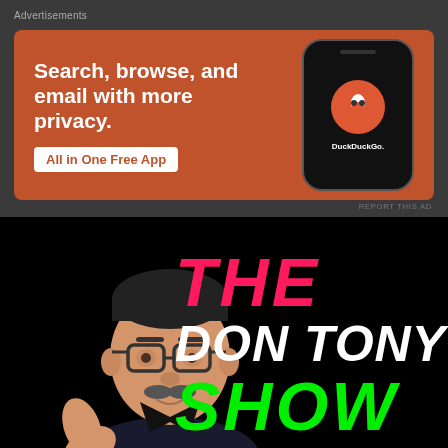Advertisements
[Figure (illustration): DuckDuckGo advertisement banner with orange background. Text reads 'Search, browse, and email with more privacy. All in One Free App'. Shows a phone with DuckDuckGo logo.]
[Figure (illustration): The Don Tony Show logo. Black background with cartoon illustration of a man with glasses and mustache. Text shows 'THE' in pink/red, 'DON TONY' in white, 'SHOW' in green, all in bold italic font.]